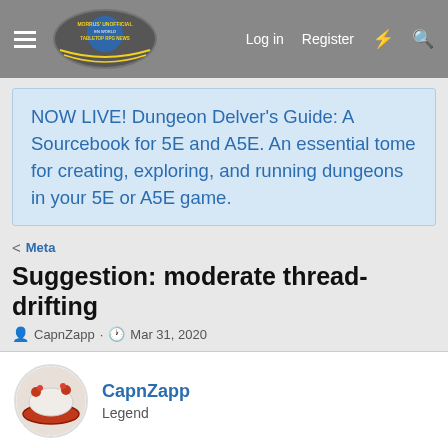Morrus' Unofficial Tabletop RPG News — Log in  Register
NOW LIVE! Dungeon Delver's Guide: A Sourcebook for 5E and A5E. An essential tome for creating, exploring, and running dungeons in your 5E or A5E game.
Meta
Suggestion: moderate thread-drifting
CapnZapp · Mar 31, 2020
CapnZapp
Legend
Mar 31, 2020  #1
Sometimes threads evolve naturally. They start discussing one thing, and end up discussing something only...